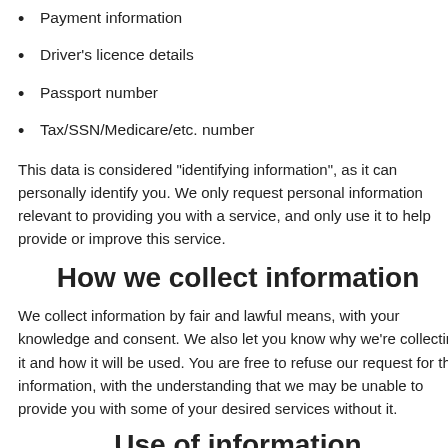Payment information
Driver's licence details
Passport number
Tax/SSN/Medicare/etc. number
This data is considered "identifying information", as it can personally identify you. We only request personal information relevant to providing you with a service, and only use it to help provide or improve this service.
How we collect information
We collect information by fair and lawful means, with your knowledge and consent. We also let you know why we're collecting it and how it will be used. You are free to refuse our request for this information, with the understanding that we may be unable to provide you with some of your desired services without it.
Use of information
We may use a combination of identifying and non-identifying